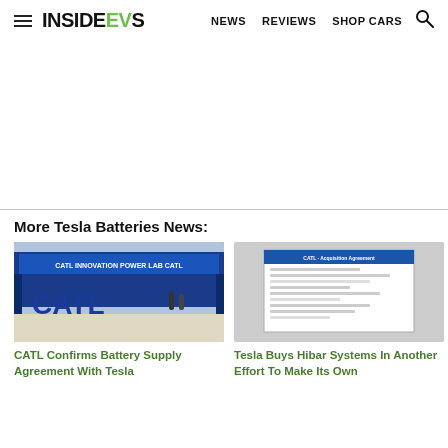InsideEVs — NEWS  REVIEWS  SHOP CARS
[Figure (other): Advertisement area (blank white space)]
More Tesla Batteries News:
[Figure (photo): CATL exhibition booth with large blue CATL letters and signage]
[Figure (photo): Tesla Hibar Systems document/screenshot thumbnail]
CATL Confirms Battery Supply Agreement With Tesla
Tesla Buys Hibar Systems In Another Effort To Make Its Own